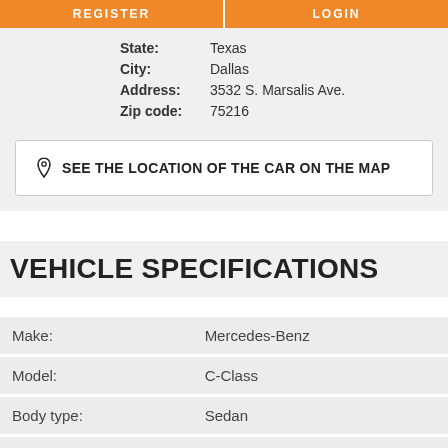[Figure (other): Two orange buttons: REGISTER and LOGIN at the top of the page]
State: Texas
City: Dallas
Address: 3532 S. Marsalis Ave.
Zip code: 75216
SEE THE LOCATION OF THE CAR ON THE MAP
VEHICLE SPECIFICATIONS
| Field | Value |
| --- | --- |
| Make: | Mercedes-Benz |
| Model: | C-Class |
| Body type: | Sedan |
| Year: | 2014 |